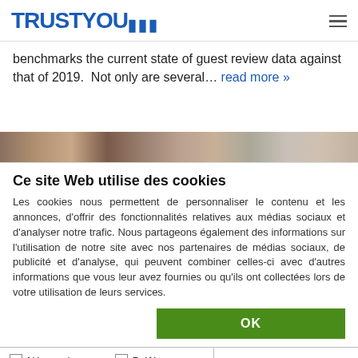TRUSTYOU
benchmarks the current state of guest review data against that of 2019.  Not only are several… read more »
[Figure (photo): Partial image strip showing a blurred/cropped photograph, likely of people or a hospitality scene]
Ce site Web utilise des cookies
Les cookies nous permettent de personnaliser le contenu et les annonces, d'offrir des fonctionnalités relatives aux médias sociaux et d'analyser notre trafic. Nous partageons également des informations sur l'utilisation de notre site avec nos partenaires de médias sociaux, de publicité et d'analyse, qui peuvent combiner celles-ci avec d'autres informations que vous leur avez fournies ou qu'ils ont collectées lors de votre utilisation de leurs services.
OK
Nécessaires (checked)
Statistiques
Préférences
Marketing
Afficher les détails